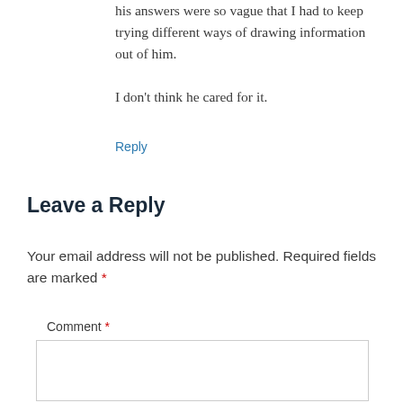his answers were so vague that I had to keep trying different ways of drawing information out of him.

I don't think he cared for it.
Reply
Leave a Reply
Your email address will not be published. Required fields are marked *
Comment *